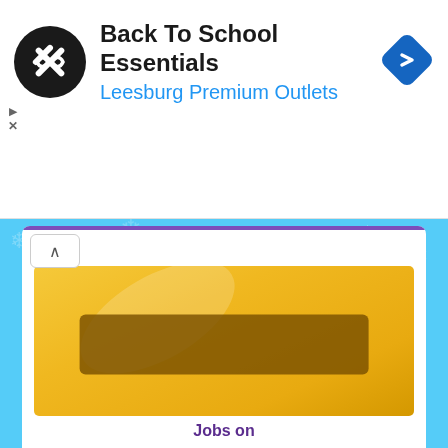[Figure (screenshot): Ad banner for Back To School Essentials at Leesburg Premium Outlets with circular logo and navigation icon]
Back To School Essentials
Leesburg Premium Outlets
[Figure (illustration): Yellow envelope illustration on blue snowflake background inside a white card]
[Figure (logo): Jobs on Monster logo — Jobs on in purple, MONSTER in purple and teal]
Maintenance & Equipment Operator/Driver
Mahaska County Sec. Roads, Oskaloosa, IA